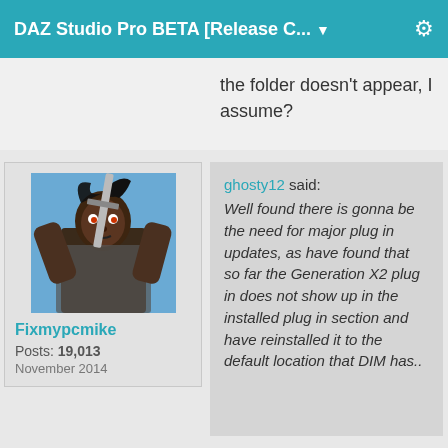DAZ Studio Pro BETA [Release C... ▼
the folder doesn't appear, I assume?
[Figure (photo): User avatar showing a 3D rendered warrior character holding a sword, against a blue sky background]
Fixmypcmike
Posts: 19,013
November 2014
ghosty12 said: Well found there is gonna be the need for major plug in updates, as have found that so far the Generation X2 plug in does not show up in the installed plug in section and have reinstalled it to the default location that DIM has..